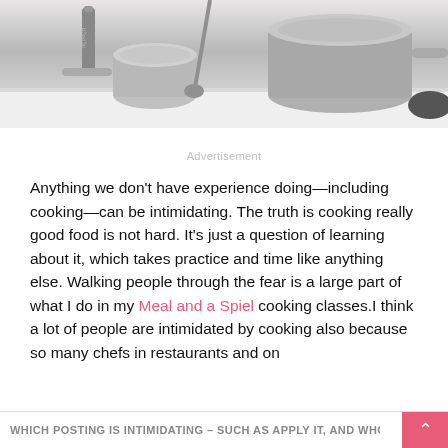[Figure (photo): Black and white photo of cooking pots, pans, and kitchen utensils on a countertop with a pepper grinder visible]
Advertisement
Anything we don't have experience doing—including cooking—can be intimidating. The truth is cooking really good food is not hard. It's just a question of learning about it, which takes practice and time like anything else. Walking people through the fear is a large part of what I do in my Meal and a Spiel cooking classes.I think a lot of people are intimidated by cooking also because so many chefs in restaurants and on
WHICH POSTING IS INTIMIDATING – SUCH AS APPLY IT, AND WHO